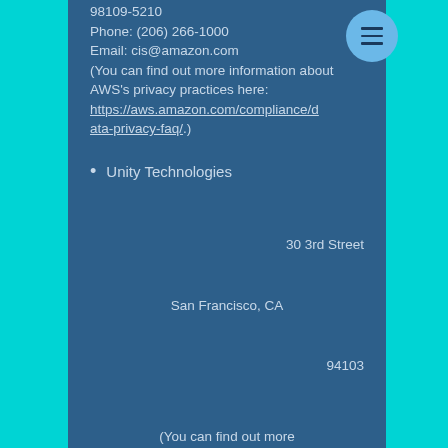98109-5210
Phone: (206) 266-1000
Email: cis@amazon.com
(You can find out more information about AWS's privacy practices here: https://aws.amazon.com/compliance/data-privacy-faq/.)
Unity Technologies
30 3rd Street
San Francisco, CA
94103
(You can find out more information about Unity's privacy practices here: